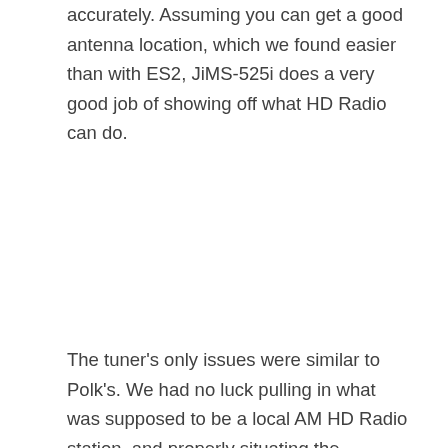accurately. Assuming you can get a good antenna location, which we found easier than with ES2, JiMS-525i does a very good job of showing off what HD Radio can do.
The tuner's only issues were similar to Polk's. We had no luck pulling in what was supposed to be a local AM HD Radio station, and properly situating the antenna